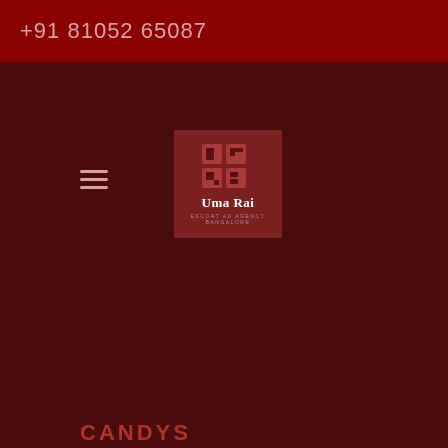+91 81052 65087
[Figure (logo): Uma Rai escort ad agency Bangalore logo with decorative icon and text]
CANDYS